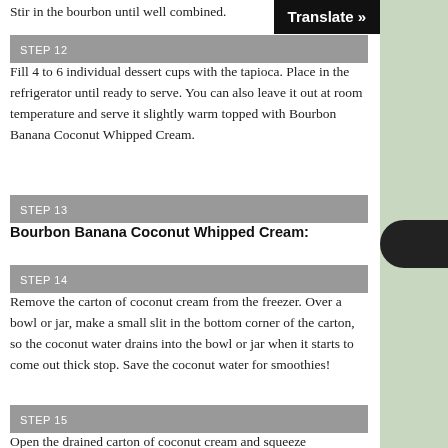Stir in the bourbon until well combined.
STEP 12
Fill 4 to 6 individual dessert cups with the tapioca. Place in the refrigerator until ready to serve. You can also leave it out at room temperature and serve it slightly warm topped with Bourbon Banana Coconut Whipped Cream.
STEP 13
Bourbon Banana Coconut Whipped Cream:
STEP 14
Remove the carton of coconut cream from the freezer. Over a bowl or jar, make a small slit in the bottom corner of the carton, so the coconut water drains into the bowl or jar when it starts to come out thick stop. Save the coconut water for smoothies!
STEP 15
Open the drained carton of coconut cream and squeeze